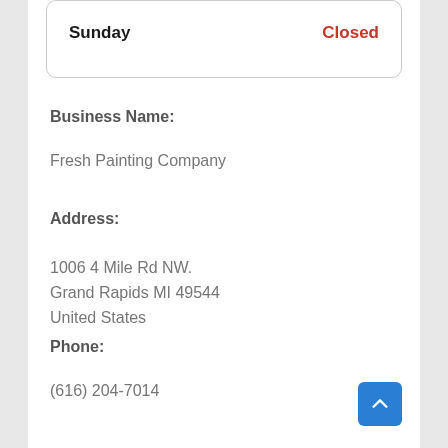| Day | Status |
| --- | --- |
| Sunday | Closed |
Business Name:
Fresh Painting Company
Address:
1006 4 Mile Rd NW.
Grand Rapids MI 49544
United States
Phone:
(616) 204-7014